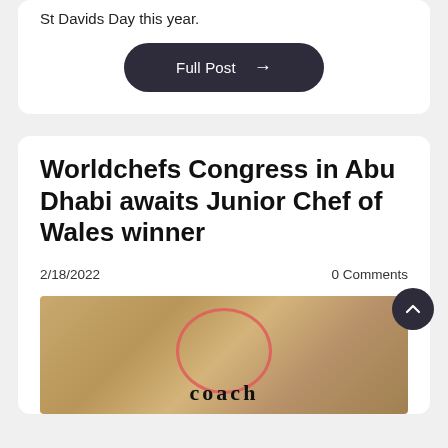St Davids Day this year.
Full Post →
Worldchefs Congress in Abu Dhabi awaits Junior Chef of Wales winner
2/18/2022
0 Comments
[Figure (photo): Photo of a young man standing in front of a wooden wall with a red circle logo and the word 'coach' visible.]